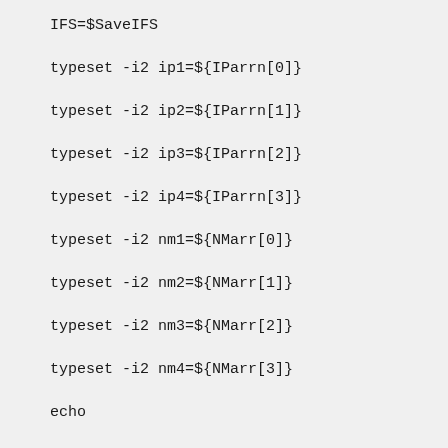IFS=$SaveIFS
typeset -i2 ip1=${IParrn[0]}
typeset -i2 ip2=${IParrn[1]}
typeset -i2 ip3=${IParrn[2]}
typeset -i2 ip4=${IParrn[3]}
typeset -i2 nm1=${NMarr[0]}
typeset -i2 nm2=${NMarr[1]}
typeset -i2 nm3=${NMarr[2]}
typeset -i2 nm4=${NMarr[3]}
echo